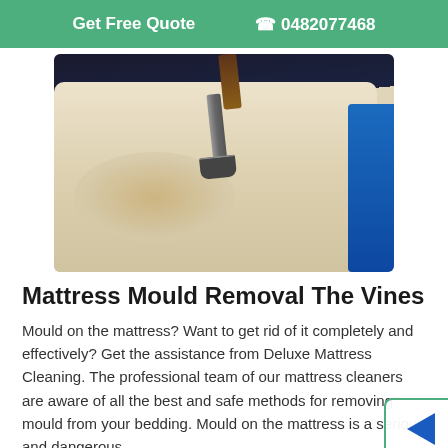Get Free Quote   📞 0482077468
[Figure (photo): A person cleaning a mattress with a professional cleaning tool/extractor wand. The mattress is white/cream colored with some staining visible, and there is blue material on the right side.]
Mattress Mould Removal The Vines
Mould on the mattress? Want to get rid of it completely and effectively? Get the assistance from Deluxe Mattress Cleaning. The professional team of our mattress cleaners are aware of all the best and safe methods for removing mould from your bedding. Mould on the mattress is a serious and dangerous